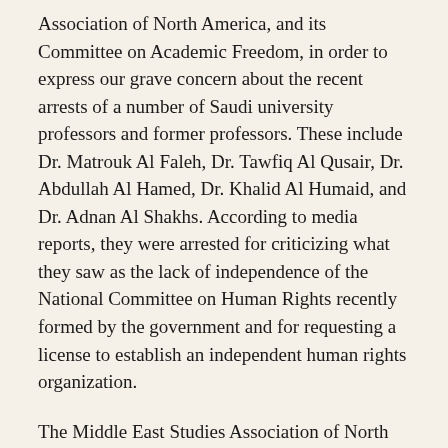Association of North America, and its Committee on Academic Freedom, in order to express our grave concern about the recent arrests of a number of Saudi university professors and former professors. These include Dr. Matrouk Al Faleh, Dr. Tawfiq Al Qusair, Dr. Abdullah Al Hamed, Dr. Khalid Al Humaid, and Dr. Adnan Al Shakhs. According to media reports, they were arrested for criticizing what they saw as the lack of independence of the National Committee on Human Rights recently formed by the government and for requesting a license to establish an independent human rights organization.
The Middle East Studies Association of North America (MESA) comprises 2500 academics worldwide who teach and conduct research on the Middle East and North Africa, and is the preeminent professional association in the field. The association publishes the International Journal of Middle East Studies, and is committed to ensuring respect for the principles of academic freedom and freedom of expression in the region and in